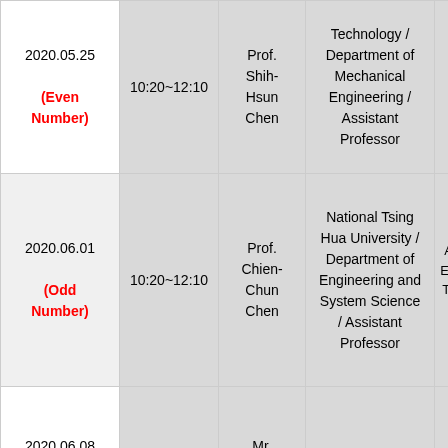| Date | Time | Instructor | Affiliation | Topic |
| --- | --- | --- | --- | --- |
| 2020.05.25
(Even Number) | 10:20~12:10 | Prof. Shih-Hsun Chen | Technology / Department of Mechanical Engineering / Assistant Professor | Gas-atom High-entr Alloy Pow... |
| 2020.06.01
(Odd Number) | 10:20~12:10 | Prof. Chien-Chun Chen | National Tsing Hua University / Department of Engineering and System Science / Assistant Professor | Atomic Electron Tomograp... |
| 2020.06.08
(Even Number) | 10:20~12:10 | Mr. Kun-Yuan Huang | Chang Chun Group / Assistant Manager | Mentor fo... |
|  |  |  | Academic Sirius... |  |